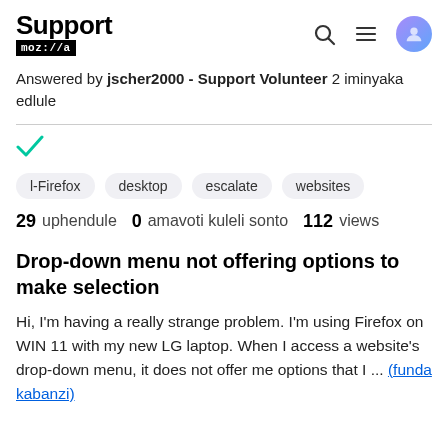Support mozilla// [search icon] [menu icon] [user icon]
Answered by jscher2000 - Support Volunteer 2 iminyaka edlule
l-Firefox   desktop   escalate   websites
29 uphendule  0 amavoti kuleli sonto  112 views
Drop-down menu not offering options to make selection
Hi, I'm having a really strange problem. I'm using Firefox on WIN 11 with my new LG laptop. When I access a website's drop-down menu, it does not offer me options that I ... (funda kabanzi)